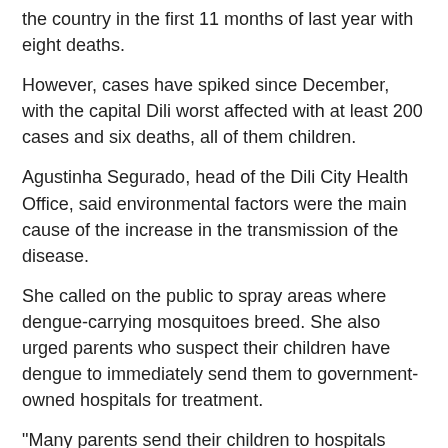the country in the first 11 months of last year with eight deaths.
However, cases have spiked since December, with the capital Dili worst affected with at least 200 cases and six deaths, all of them children.
Agustinha Segurado, head of the Dili City Health Office, said environmental factors were the main cause of the increase in the transmission of the disease.
She called on the public to spray areas where dengue-carrying mosquitoes breed. She also urged parents who suspect their children have dengue to immediately send them to government-owned hospitals for treatment.
"Many parents send their children to hospitals when their children's situation gets worse, making it difficult for hospitals to save them," she said.
Francisco Borges, director of the Medicines and Medical Devices Storage Agency at the Ministry of Health, said supplies of mosquito-repellent powder and liquid from Australia were scheduled to arrive early next month.
Source: https://www.ucanews.com/news/dengue-